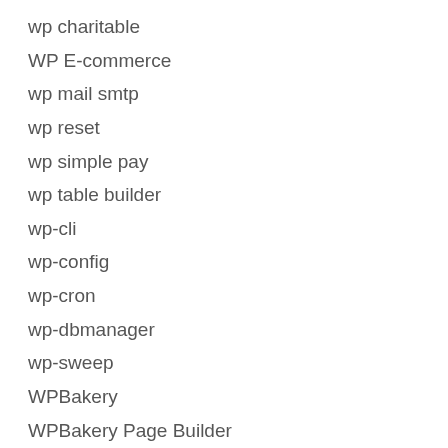wp charitable
WP E-commerce
wp mail smtp
wp reset
wp simple pay
wp table builder
wp-cli
wp-config
wp-cron
wp-dbmanager
wp-sweep
WPBakery
WPBakery Page Builder